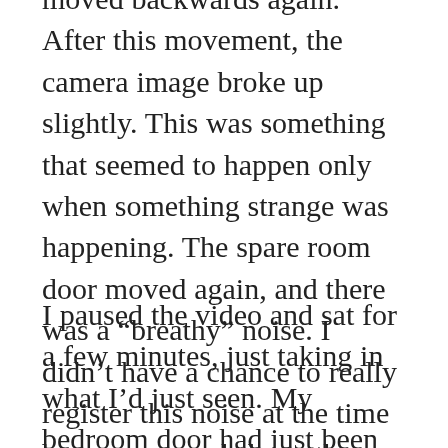moved backwards again. After this movement, the camera image broke up slightly. This was something that seemed to happen only when something strange was happening. The spare room door moved again, and there was a “breathy” noise. I didn’t have a chance to really register this noise at the time because seconds later, the door to my bedroom slammed shut, the noise making me nearly jump out of my seat.
I paused the video and sat for a few minutes, just taking in what I’d just seen. My bedroom door had just been caught slamming on video. This was big. I leaned back in my chair and looked at the door that was now open again after I had reopened it when I came back home. I slipped